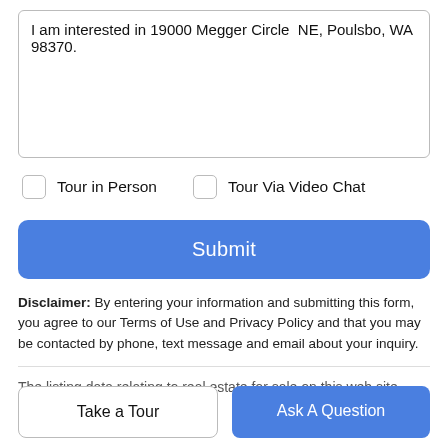I am interested in 19000 Megger Circle  NE, Poulsbo, WA 98370.
Tour in Person
Tour Via Video Chat
Submit
Disclaimer: By entering your information and submitting this form, you agree to our Terms of Use and Privacy Policy and that you may be contacted by phone, text message and email about your inquiry.
The listing data relating to real estate for sale on this web site
Take a Tour
Ask A Question